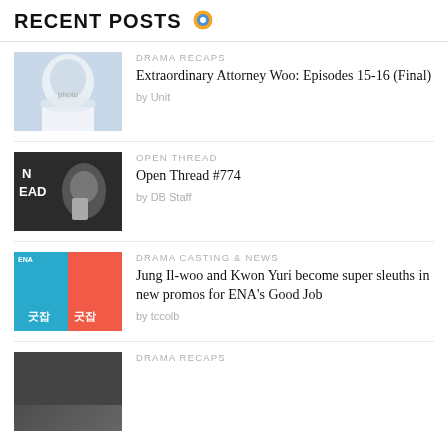RECENT POSTS
DRAMA RECAPS | Extraordinary Attorney Woo: Episodes 15-16 (Final) | by Unit
OPEN THREAD | Open Thread #774 | by DB Staff
DRAMA CASTING & NEWS | Jung Il-woo and Kwon Yuri become super sleuths in new promos for ENA's Good Job | by tccolb
DRAMA RECAPS